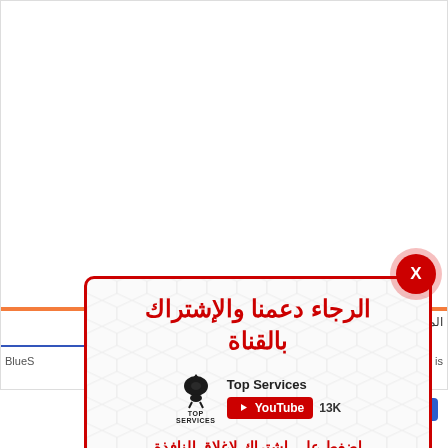[Figure (screenshot): Background webpage screenshot showing a website with orange bar, Arabic text المشتر on the right, BlueStacks text on left, colorful app icon on right side]
[Figure (infographic): Popup modal with red border on hexagon-patterned background. Contains Arabic text: الرجاء دعمنا والإشتراك بالقناة (Please support us and subscribe to the channel). Shows Top Services YouTube channel with 13K subscribers button. Bottom Arabic text: إضغط على إشتراك لإغلاق النافذة (Click subscribe to close the window). Red X close button in top right corner.]
09 يناير 2020
MEmu 7.1.1
Enjoy a unique performance experience for Android games and